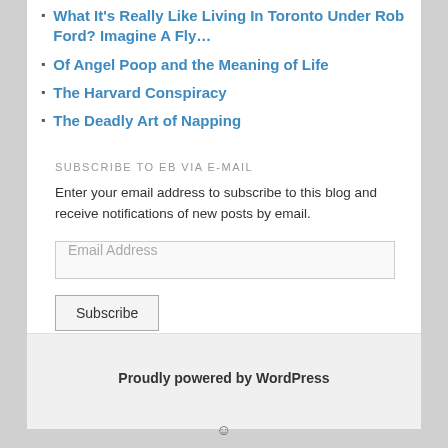What It's Really Like Living In Toronto Under Rob Ford? Imagine A Fly…
Of Angel Poop and the Meaning of Life
The Harvard Conspiracy
The Deadly Art of Napping
SUBSCRIBE TO EB VIA E-MAIL
Enter your email address to subscribe to this blog and receive notifications of new posts by email.
Email Address
Subscribe
Proudly powered by WordPress